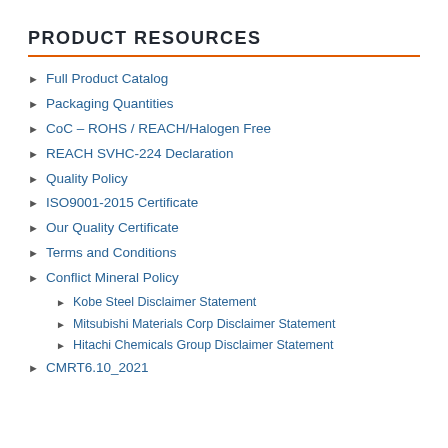PRODUCT RESOURCES
Full Product Catalog
Packaging Quantities
CoC – ROHS / REACH/Halogen Free
REACH SVHC-224 Declaration
Quality Policy
ISO9001-2015 Certificate
Our Quality Certificate
Terms and Conditions
Conflict Mineral Policy
Kobe Steel Disclaimer Statement
Mitsubishi Materials Corp Disclaimer Statement
Hitachi Chemicals Group Disclaimer Statement
CMRT6.10_2021